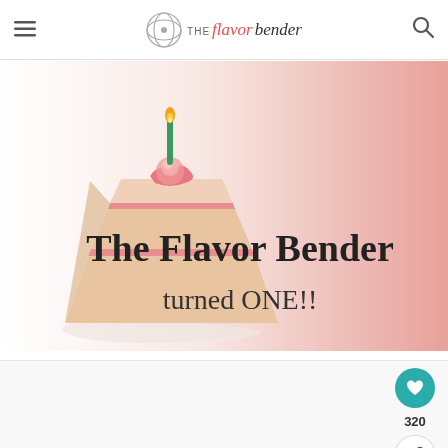THE flavor bender — navigation header with hamburger menu and search icon
[Figure (illustration): Hero banner image showing a slice of layered pink cake with a birthday candle on a gradient pink background. Text overlay reads 'The Flavor Bender turned ONE!!']
[Figure (other): Lower card area with floating action buttons: a teal heart/favorite button, '320' count label, and a share button]